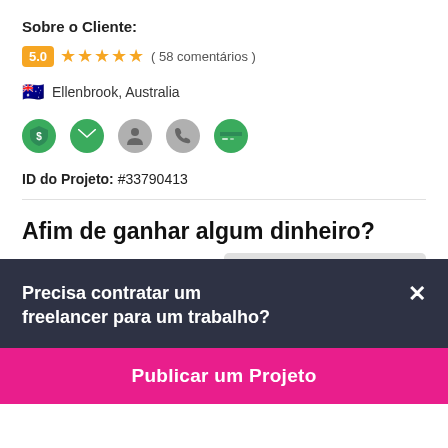Sobre o Cliente:
5.0 ★★★★★ ( 58 comentários )
🇦🇺 Ellenbrook, Australia
[Figure (infographic): Five verification/trust icons: dollar shield (green), email (green), person (gray), phone (gray), credit card (green)]
ID do Projeto: #33790413
Afim de ganhar algum dinheiro?
PROJETO ENCERRADO
Precisa contratar um freelancer para um trabalho?
Publicar um Projeto